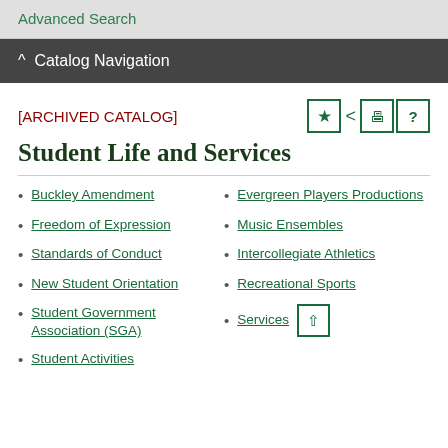Advanced Search
^ Catalog Navigation
[ARCHIVED CATALOG]
Student Life and Services
Buckley Amendment
Freedom of Expression
Standards of Conduct
New Student Orientation
Student Government Association (SGA)
Student Activities
Evergreen Players Productions
Music Ensembles
Intercollegiate Athletics
Recreational Sports
Services